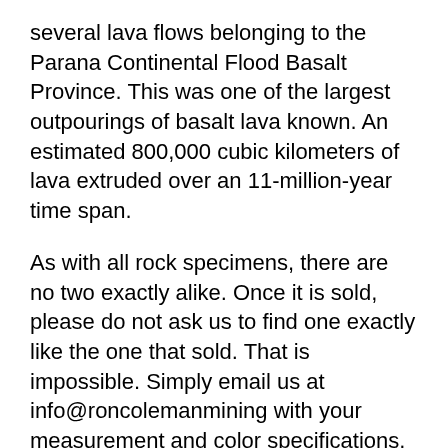several lava flows belonging to the Parana Continental Flood Basalt Province. This was one of the largest outpourings of basalt lava known. An estimated 800,000 cubic kilometers of lava extruded over an 11-million-year time span.
As with all rock specimens, there are no two exactly alike.  Once it is sold, please do not ask us to find one exactly like the one that sold.  That is impossible.  Simply email us at info@roncolemanmining with your measurement and color specifications.  We will do our best to find the size and color you seek.
Place it in your space as a Feng Shui energy